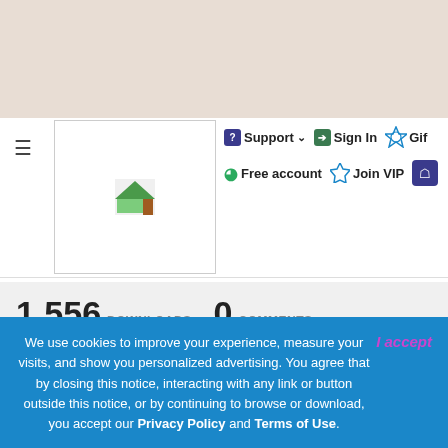[Figure (screenshot): Beige/tan header background area at top of webpage]
Support  Sign In  Gif  Free account  Join VIP
1,556 DOWNLOADS  0 COMMENTS
See more and download
We use cookies to improve your experience, measure your visits, and show you personalized advertising. You agree that by closing this notice, interacting with any link or button outside this notice, or by continuing to browse or download, you accept our Privacy Policy and Terms of Use.
I accept